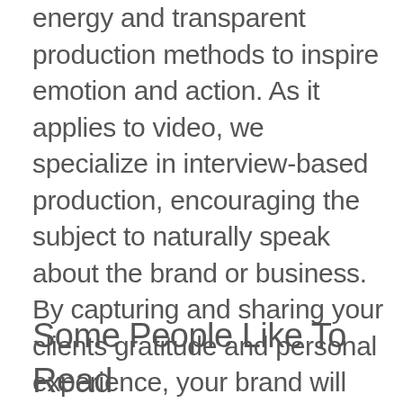energy and transparent production methods to inspire emotion and action. As it applies to video, we specialize in interview-based production, encouraging the subject to naturally speak about the brand or business. By capturing and sharing your clients gratitude and personal experience, your brand will organically draw better quality customers online.
Some People Like To Read